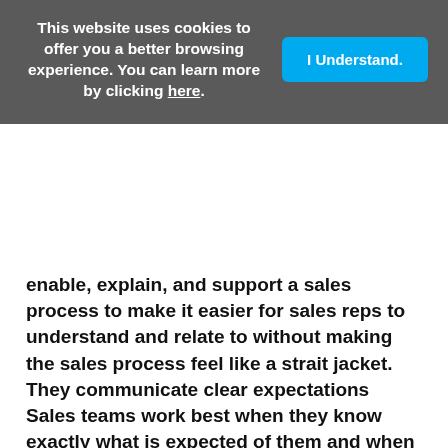This website uses cookies to offer you a better browsing experience. You can learn more by clicking here.
I Understand.
enable, explain, and support a sales process to make it easier for sales reps to understand and relate to without making the sales process feel like a strait jacket. They communicate clear expectations Sales teams work best when they know exactly what is expected of them and when deliverables are due. Though key performance indicators (KPIs) vary from company to company, sales reps should know exactly what happens when they meet expectations and what to expect when they miss. It is the responsibility of the sales manager to ensure their team fully